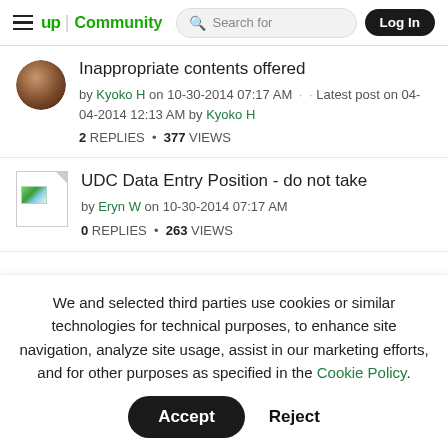≡ up | Community   🔍 Search for   Log In
Inappropriate contents offered
by Kyoko H on 10-30-2014 07:17 AM · · Latest post on 04-04-2014 12:13 AM by Kyoko H
2 REPLIES · 377 VIEWS
UDC Data Entry Position - do not take
by Eryn W on 10-30-2014 07:17 AM
0 REPLIES · 263 VIEWS
We and selected third parties use cookies or similar technologies for technical purposes, to enhance site navigation, analyze site usage, assist in our marketing efforts, and for other purposes as specified in the Cookie Policy.
Accept
Reject